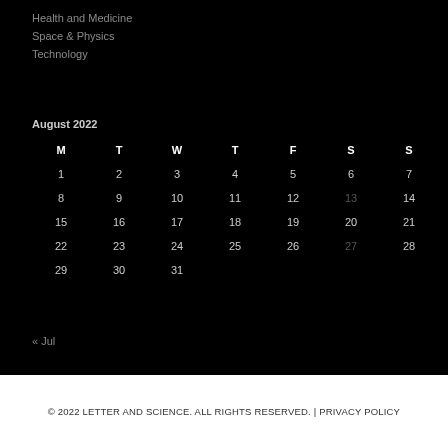Health and Medicine
Space & Physics
Technology
| M | T | W | T | F | S | S |
| --- | --- | --- | --- | --- | --- | --- |
| 1 | 2 | 3 | 4 | 5 | 6 | 7 |
| 8 | 9 | 10 | 11 | 12 | 13 | 14 |
| 15 | 16 | 17 | 18 | 19 | 20 | 21 |
| 22 | 23 | 24 | 25 | 26 | 27 | 28 |
| 29 | 30 | 31 |  |  |  |  |
« Jul
© 2022 LETTER AND SCIENCE. ALL RIGHTS RESERVED. | PRIVACY POLICY